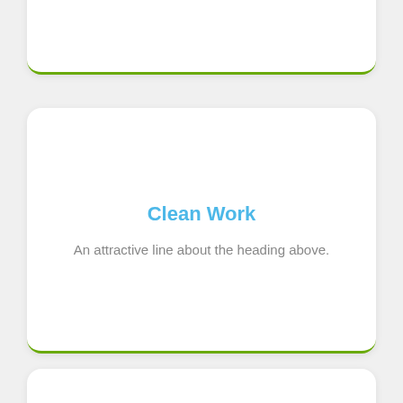[Figure (screenshot): Top card with white background, rounded corners, and green bottom border — partially visible at top of page]
Clean Work
An attractive line about the heading above.
[Figure (screenshot): Bottom card with white background and rounded corners — partially visible at bottom of page]